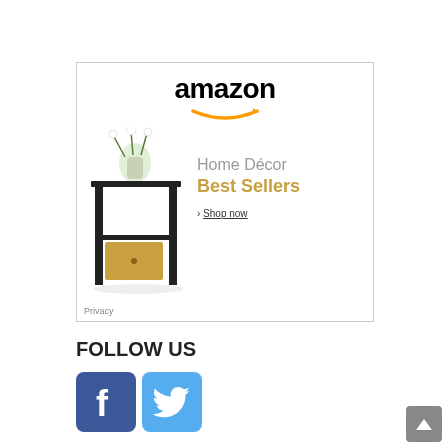[Figure (screenshot): Amazon advertisement banner for Home Décor Best Sellers. Shows Amazon logo at top with orange smile, a dark wood end table/nightstand with drawer and flower vase on top, text 'Home Décor Best Sellers' and '› Shop now' link. Privacy label at bottom left.]
FOLLOW US
[Figure (logo): Facebook logo icon - blue rounded square with white 'f']
[Figure (logo): Twitter logo icon - light blue rounded square with white bird]